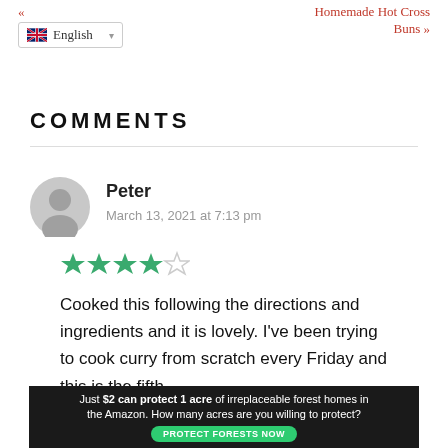« English | Homemade Hot Cross Buns »
COMMENTS
Peter
March 13, 2021 at 7:13 pm
[Figure (other): 4 out of 5 stars rating]
Cooked this following the directions and ingredients and it is lovely. I've been trying to cook curry from scratch every Friday and this is the fifth
[Figure (other): Advertisement banner: Just $2 can protect 1 acre of irreplaceable forest homes in the Amazon. How many acres are you willing to protect? PROTECT FORESTS NOW]